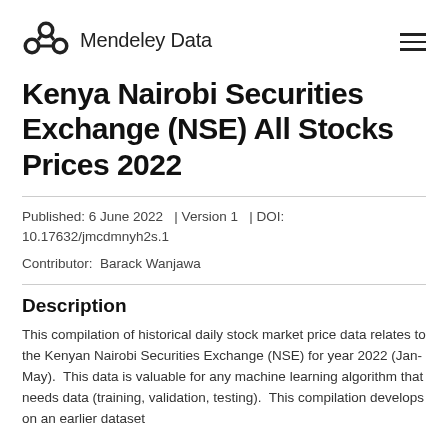Mendeley Data
Kenya Nairobi Securities Exchange (NSE) All Stocks Prices 2022
Published: 6 June 2022  | Version 1  | DOI: 10.17632/jmcdmnyh2s.1
Contributor:  Barack Wanjawa
Description
This compilation of historical daily stock market price data relates to the Kenyan Nairobi Securities Exchange (NSE) for year 2022 (Jan-May).  This data is valuable for any machine learning algorithm that needs data (training, validation, testing).  This compilation develops on an earlier dataset...